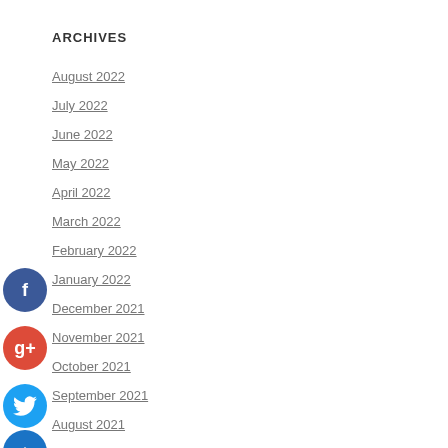ARCHIVES
August 2022
July 2022
June 2022
May 2022
April 2022
March 2022
February 2022
January 2022
December 2021
November 2021
October 2021
September 2021
August 2021
July 2021
June 2021
May 2021